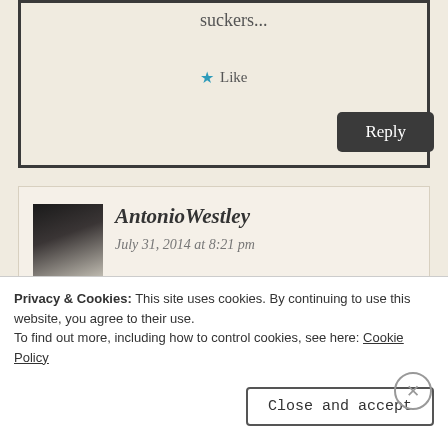suckers...
★ Like
Reply
[Figure (photo): Profile avatar photo of AntonioWestley, dark silhouette against light background]
AntonioWestley
July 31, 2014 at 8:21 pm
Wow thank you very much for this post as i am on the verge of completing a novella that will be my first release. Your post however
Privacy & Cookies: This site uses cookies. By continuing to use this website, you agree to their use.
To find out more, including how to control cookies, see here: Cookie Policy
Close and accept